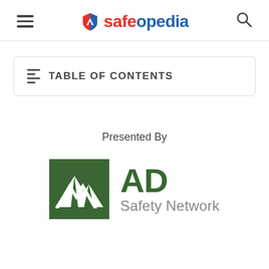safeopedia
TABLE OF CONTENTS
Presented By
[Figure (logo): AD Safety Network logo — a dark green square with white mountain/chevron mark, next to bold green 'AD' text and grey 'Safety Network' text]